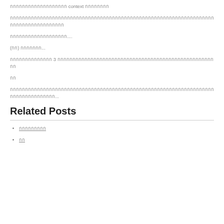กกกกกกกกกกกกกกกกกกก context กกกกกกกก
กกกกกกกกกกกกกกกกกกกกกกกกกกกกกกกกกกกกกกกกกกกกกกกกกกกกกกกกกกกกกกกกกกกกกกกกกกกกกกกกกกกก
กกกกกกกกกกกกกกกกกกก....
(กก) กกกกกกก...
กกกกกกกกกกกกกก 3 กกกกกกกกกกกกกกกกกกกกกกกกกกกกกกกกกกกกกกกกกกกกกกกกกกกกกก
กก
กกกกกกกกกกกกกกกกกกกกกกกกกกกกกกกกกกกกกกกกกกกกกกกกกกกกกกกกกกกกกกกกกกกกกกกกกกกกกกกกกกกก...
Related Posts
กกกกกกกกก
กก